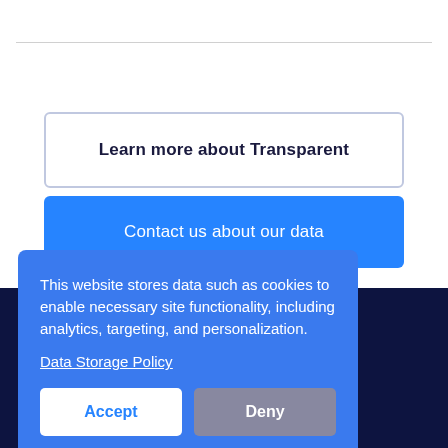Learn more about Transparent
Contact us about our data
This website stores data such as cookies to enable necessary site functionality, including analytics, targeting, and personalization.
Data Storage Policy
Accept
Deny
Vacation Rental Pricing